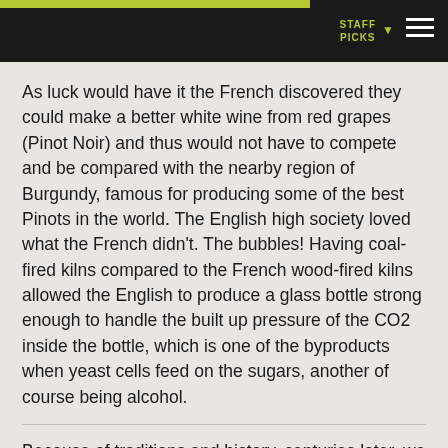STAFF PICKS
As luck would have it the French discovered they could make a better white wine from red grapes (Pinot Noir) and thus would not have to compete and be compared with the nearby region of Burgundy, famous for producing some of the best Pinots in the world. The English high society loved what the French didn't. The bubbles! Having coal-fired kilns compared to the French wood-fired kilns allowed the English to produce a glass bottle strong enough to handle the built up pressure of the CO2 inside the bottle, which is one of the byproducts when yeast cells feed on the sugars, another of course being alcohol.
Because of traditions and history, centuries later, we associate Sparkling wine with Royalty and celebrations.
Most of us aren't very royal but we've all been to a party, the races or a good ol' bash where the cheapest Sparkling is